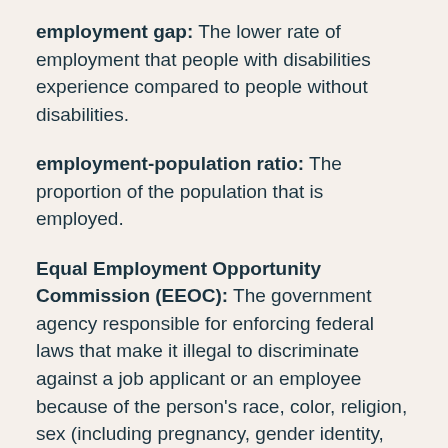employment gap: The lower rate of employment that people with disabilities experience compared to people without disabilities.
employment-population ratio: The proportion of the population that is employed.
Equal Employment Opportunity Commission (EEOC): The government agency responsible for enforcing federal laws that make it illegal to discriminate against a job applicant or an employee because of the person's race, color, religion, sex (including pregnancy, gender identity, and sexual orientation), national origin, age (40 or older), disability, or genetic information.